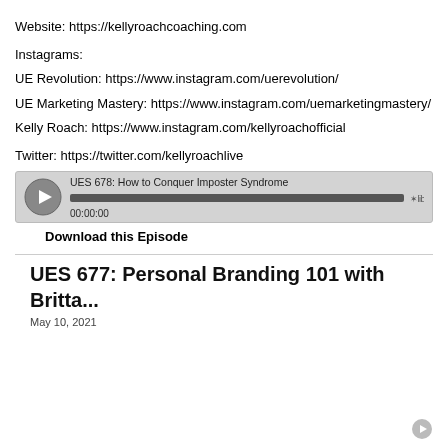Website: https://kellyroachcoaching.com
Instagrams:
UE Revolution: https://www.instagram.com/uerevolution/
UE Marketing Mastery: https://www.instagram.com/uemarketingmastery/
Kelly Roach: https://www.instagram.com/kellyroachofficial
Twitter: https://twitter.com/kellyroachlive
[Figure (screenshot): Audio player widget for UES 678: How to Conquer Imposter Syndrome, showing play button, progress bar, timestamp 00:00:00, and libsyn logo]
Download this Episode
UES 677: Personal Branding 101 with Britta...
May 10, 2021